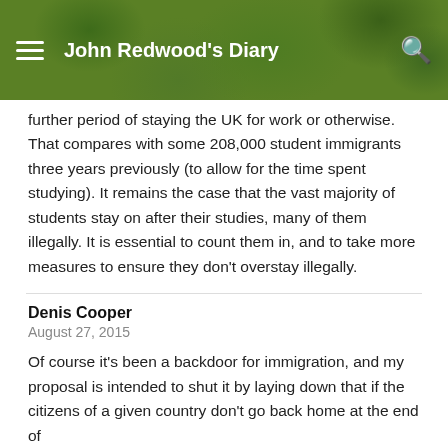John Redwood's Diary
further period of staying the UK for work or otherwise. That compares with some 208,000 student immigrants three years previously (to allow for the time spent studying). It remains the case that the vast majority of students stay on after their studies, many of them illegally. It is essential to count them in, and to take more measures to ensure they don't overstay illegally.
Denis Cooper
August 27, 2015
Of course it's been a backdoor for immigration, and my proposal is intended to shut it by laying down that if the citizens of a given country don't go back home at the end of